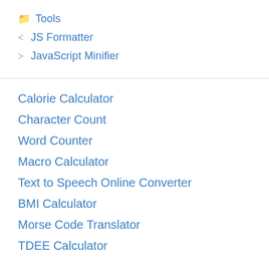Tools
< JS Formatter
> JavaScript Minifier
Calorie Calculator
Character Count
Word Counter
Macro Calculator
Text to Speech Online Converter
BMI Calculator
Morse Code Translator
TDEE Calculator